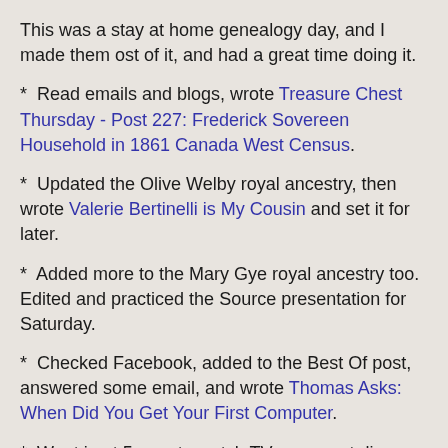This was a stay at home genealogy day, and I made them ost of it, and had a great time doing it.
*  Read emails and blogs, wrote Treasure Chest Thursday - Post 227: Frederick Sovereen Household in 1861 Canada West Census.
*  Updated the Olive Welby royal ancestry, then wrote Valerie Bertinelli is My Cousin and set it for later.
*  Added more to the Mary Gye royal ancestry too.  Edited and practiced the Source presentation for Saturday.
*  Checked Facebook, added to the Best Of post, answered some email, and wrote Thomas Asks: When Did You Get Your First Computer.
*  Went in at 5 p.m. to watch TV news, eat dinner, read the paper, and watch the Padres game.  Pads lost 4-3 to Cards on disputed call at home in the 9th.  Drat, now 57-63.